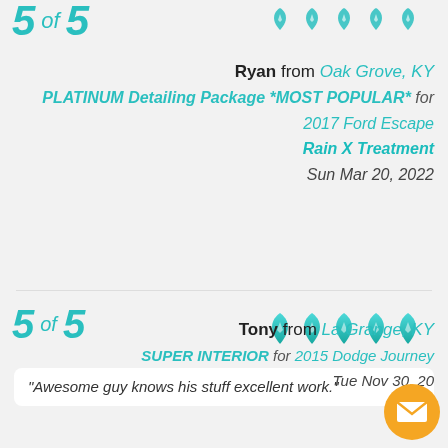5 of 5 (top, partial)
Ryan from Oak Grove, KY
PLATINUM Detailing Package *MOST POPULAR* for 2017 Ford Escape
Rain X Treatment
Sun Mar 20, 2022
5 of 5
"Awesome guy knows his stuff excellent work."
Tony from La Grange, KY
SUPER INTERIOR for 2015 Dodge Journey
Tue Nov 30, 20...